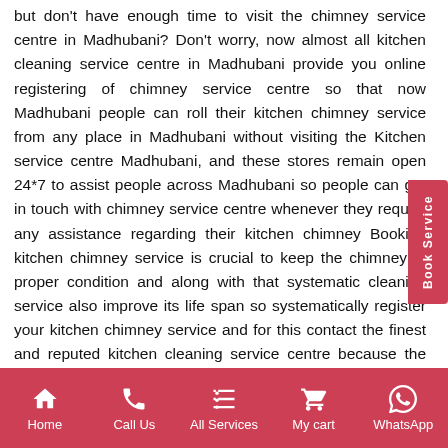but don't have enough time to visit the chimney service centre in Madhubani? Don't worry, now almost all kitchen cleaning service centre in Madhubani provide you online registering of chimney service centre so that now Madhubani people can roll their kitchen chimney service from any place in Madhubani without visiting the Kitchen service centre Madhubani, and these stores remain open 24*7 to assist people across Madhubani so people can get in touch with chimney service centre whenever they require any assistance regarding their kitchen chimney Booking kitchen chimney service is crucial to keep the chimney in proper condition and along with that systematic cleaning service also improve its life span so systematically register your kitchen chimney service and for this contact the finest and reputed kitchen cleaning service centre because the well-established
Home | Call Us | All Services | My cart | WhatsApp